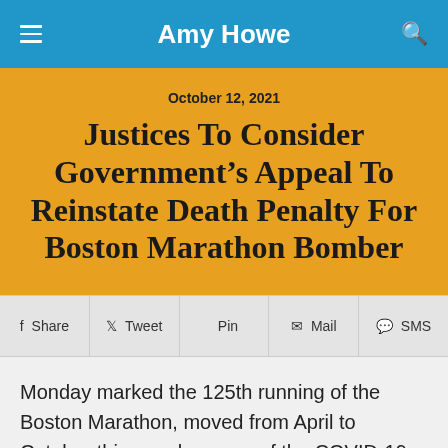Amy Howe
October 12, 2021
Justices To Consider Government’s Appeal To Reinstate Death Penalty For Boston Marathon Bomber
Share  Tweet  Pin  Mail  SMS
Monday marked the 125th running of the Boston Marathon, moved from April to October this year because of the COVID-19 pandemic. On Wednesday, the Supreme Court will hear the United States’ effort